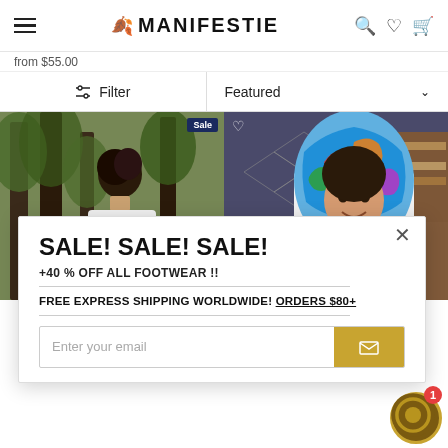MANIFESTIE — navigation header with hamburger menu, logo, search, wishlist, cart icons
from $55.00
Filter  |  Featured
[Figure (photo): Two product photos side by side: left shows a woman from behind wearing a colorful blue and orange scarf in a forest setting, with a 'Sale' badge. Right shows a woman wearing a colorful hooded garment with swirling blue, red, green patterns, smiling at camera.]
SALE! SALE! SALE!
+40% OFF ALL FOOTWEAR !!
FREE EXPRESS SHIPPING WORLDWIDE! ORDERS $80+
Enter your email